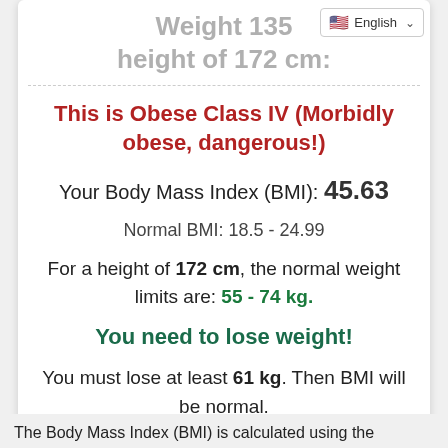Weight 135 height of 172 cm:
This is Obese Class IV (Morbidly obese, dangerous!)
Your Body Mass Index (BMI): 45.63
Normal BMI: 18.5 - 24.99
For a height of 172 cm, the normal weight limits are: 55 - 74 kg.
You need to lose weight!
You must lose at least 61 kg. Then BMI will be normal.
The Body Mass Index (BMI) is calculated using the